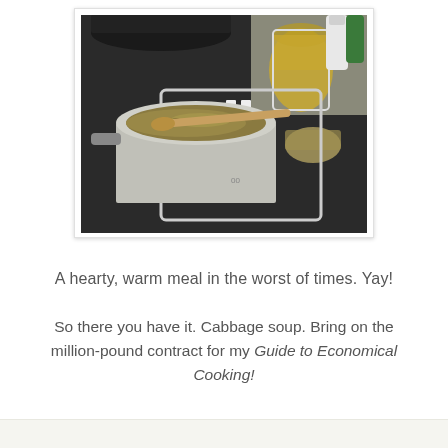[Figure (photo): A pot of cabbage soup on an electric stovetop with a wooden spoon, alongside a glass jar and small container on the counter.]
A hearty, warm meal in the worst of times. Yay!
So there you have it. Cabbage soup. Bring on the million-pound contract for my Guide to Economical Cooking!